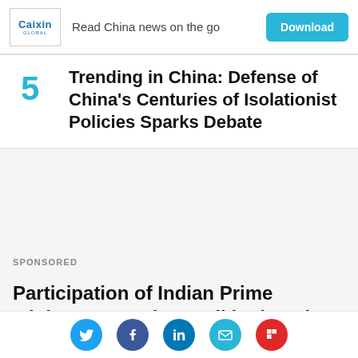[Figure (logo): Caixin Global logo with ad banner: 'Read China news on the go' and 'Download' button]
Trending in China: Defense of China's Centuries of Isolationist Policies Sparks Debate
SPONSORED
Participation of Indian Prime Minister Narendra Modi in the 5th Eastern Economic Forum Discussed in Moscow
[Figure (infographic): Social sharing icons: Twitter, Facebook, LinkedIn, Email, Flipboard]